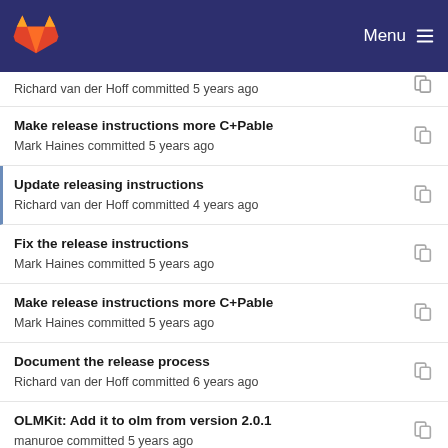GitLab — Menu
Make release instructions more C+Pable
Mark Haines committed 5 years ago
Update releasing instructions
Richard van der Hoff committed 4 years ago
Fix the release instructions
Mark Haines committed 5 years ago
Make release instructions more C+Pable
Mark Haines committed 5 years ago
Document the release process
Richard van der Hoff committed 6 years ago
OLMKit: Add it to olm from version 2.0.1
manuroe committed 5 years ago
OLMKit: Improve wording
manuroe committed 5 years ago